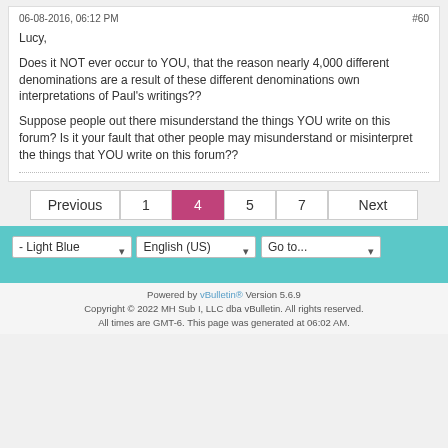06-08-2016, 06:12 PM   #60
Lucy,
Does it NOT ever occur to YOU, that the reason nearly 4,000 different denominations are a result of these different denominations own interpretations of Paul's writings??
Suppose people out there misunderstand the things YOU write on this forum? Is it your fault that other people may misunderstand or misinterpret the things that YOU write on this forum??
Previous  1  4  5  7  Next
- Light Blue
English (US)
Go to...
Powered by vBulletin® Version 5.6.9
Copyright © 2022 MH Sub I, LLC dba vBulletin. All rights reserved.
All times are GMT-6. This page was generated at 06:02 AM.